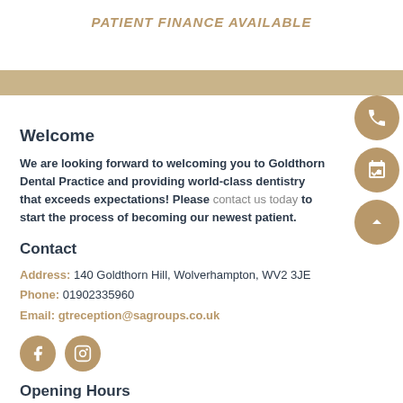PATIENT FINANCE AVAILABLE
Welcome
We are looking forward to welcoming you to Goldthorn Dental Practice and providing world-class dentistry that exceeds expectations! Please contact us today to start the process of becoming our newest patient.
Contact
Address: 140 Goldthorn Hill, Wolverhampton, WV2 3JE
Phone: 01902335960
Email: gtreception@sagroups.co.uk
[Figure (infographic): Facebook and Instagram social media icon circles in gold]
Opening Hours
Monday 9:00 AM - 5:00 PM